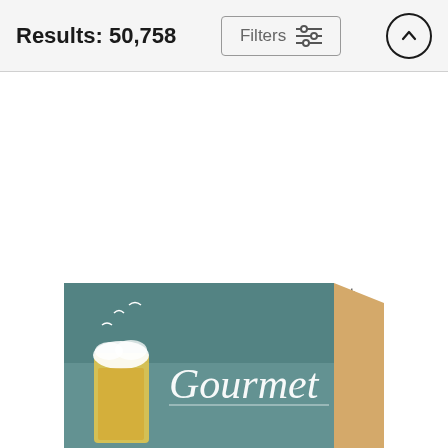Results: 50,758
Filters
Beer Lovers Tee Wood Print
Edward Fielding
$56
[Figure (photo): A wood print product showing a vintage Gourmet magazine cover with a beer glass and seagulls on a teal/blue background, displayed at an angle showing the wood edge.]